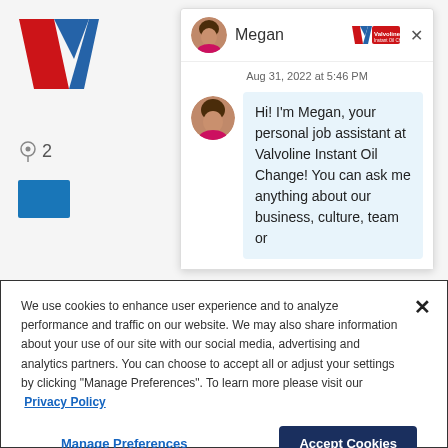[Figure (screenshot): Valvoline website with chat widget showing Megan the job assistant, and a cookie consent banner overlay at the bottom.]
Megan
Aug 31, 2022 at 5:46 PM
Hi! I'm Megan, your personal job assistant at Valvoline Instant Oil Change! You can ask me anything about our business, culture, team or
We use cookies to enhance user experience and to analyze performance and traffic on our website. We may also share information about your use of our site with our social media, advertising and analytics partners. You can choose to accept all or adjust your settings by clicking "Manage Preferences". To learn more please visit our  Privacy Policy
Manage Preferences
Accept Cookies